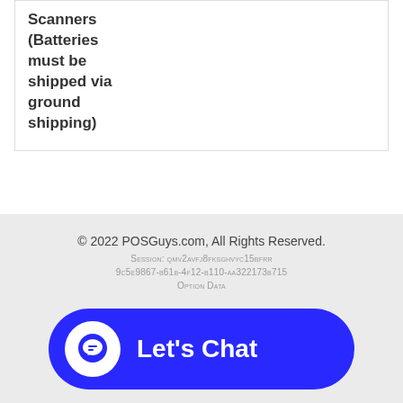Scanners (Batteries must be shipped via ground shipping)
© 2022 POSGuys.com, All Rights Reserved.
Session: qmv2avfj8fksghvyc15bfrr
9c5e9867-b61b-4f12-b110-aa322173b715
Option Data
[Figure (other): Blue rounded rectangle chat button with white speech bubble icon and text 'Let's Chat']